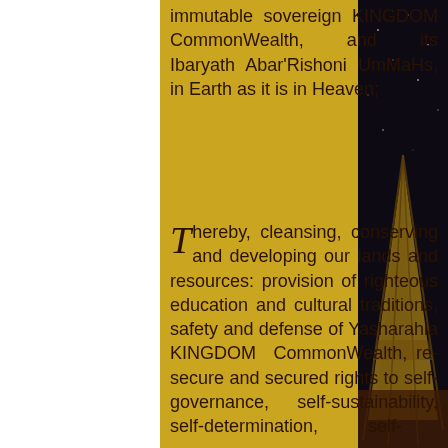immutable sovereign KINGDOM CommonWealth, and its Ibaryath Abar'Rishoni UmMaHs, in Earth as it is in Heaven;
[Figure (photo): Night sky background with teepee/tipi structure visible on the right side, dark background with stars]
Thereby, cleansing, conserving and developing our lands and resources: provision of righteous education and cultural traditions, safety and defense of Yasharahla KINGDOM CommonWealth, re-secure and secured rights to self-governance, self-sustainability, self-determination, self-